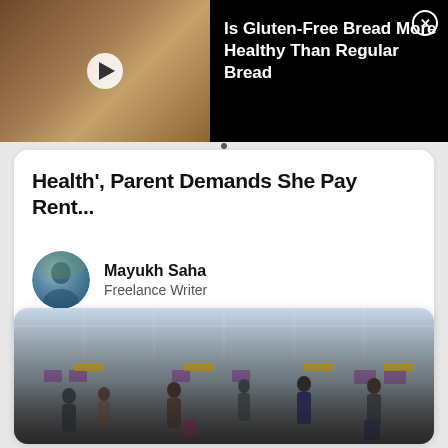[Figure (screenshot): Video ad banner showing sliced bread on a wooden surface with a play button overlay, on a black background with ad close button]
Is Gluten-Free Bread More Healthy Than Regular Bread
Health', Parent Demands She Pay Rent...
Mayukh Saha
Freelance Writer
[Figure (photo): Airport terminal interior showing passengers with luggage at check-in kiosks, bright overhead lighting with structural ceiling beams]